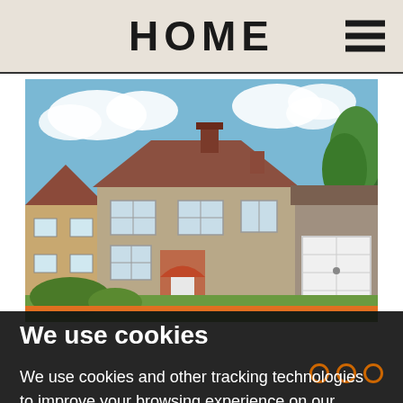HOME
[Figure (photo): Exterior photograph of a semi-detached British suburban house with brick facade, white garage door, front garden with hedges, and blue sky with clouds]
We use cookies
We use cookies and other tracking technologies to improve your browsing experience on our website, to show you personalized content and targeted ads, to